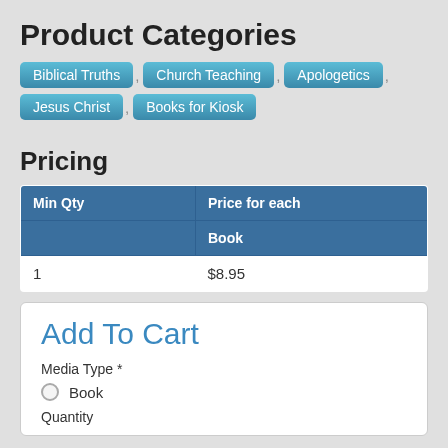Product Categories
Biblical Truths
Church Teaching
Apologetics
Jesus Christ
Books for Kiosk
Pricing
| Min Qty | Price for each
Book |
| --- | --- |
| 1 | $8.95 |
Add To Cart
Media Type *
Book
Quantity